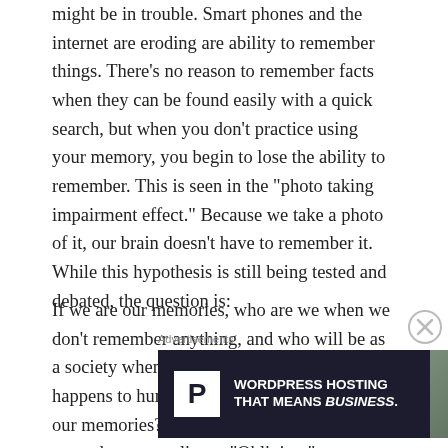might be in trouble. Smart phones and the internet are eroding are ability to remember things. There's no reason to remember facts when they can be found easily with a quick search, but when you don't practice using your memory, you begin to lose the ability to remember. This is seen in the “photo taking impairment effect.” Because we take a photo of it, our brain doesn’t have to remember it. While this hypothesis is still being tested and debated, the question is:
If we are our memories, who are we when we don’t remember anything, and who will be as a society when we forget our past? What happens to humanity when the phones have our memories? Perhaps, the movie has told us more than we realize… “Oblivion.”
Advertisements
[Figure (other): Advertisement banner for WordPress Hosting with a P logo icon on dark background and an OPEN sign image on the right side. Text reads: WORDPRESS HOSTING THAT MEANS BUSINESS.]